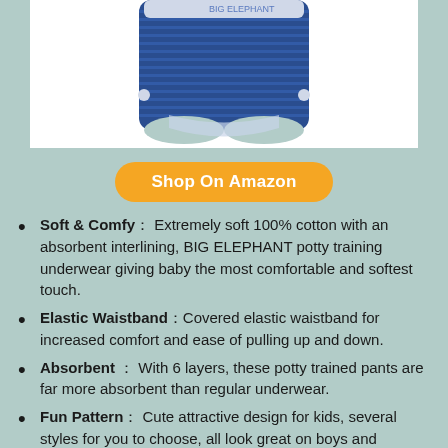[Figure (photo): Blue striped baby training underwear/potty pants with elastic waistband, partially visible at top of page]
Shop On Amazon
Soft & Comfy： Extremely soft 100% cotton with an absorbent interlining, BIG ELEPHANT potty training underwear giving baby the most comfortable and softest touch.
Elastic Waistband：Covered elastic waistband for increased comfort and ease of pulling up and down.
Absorbent ： With 6 layers, these potty trained pants are far more absorbent than regular underwear.
Fun Pattern： Cute attractive design for kids, several styles for you to choose, all look great on boys and